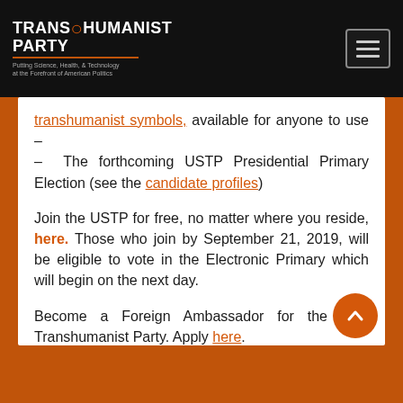TRANSHUMANIST PARTY — Putting Science, Health, & Technology at the Forefront of American Politics
transhumanist symbols, available for anyone to use – – The forthcoming USTP Presidential Primary Election (see the candidate profiles)
Join the USTP for free, no matter where you reside, here. Those who join by September 21, 2019, will be eligible to vote in the Electronic Primary which will begin on the next day.
Become a Foreign Ambassador for the U.S. Transhumanist Party. Apply here.